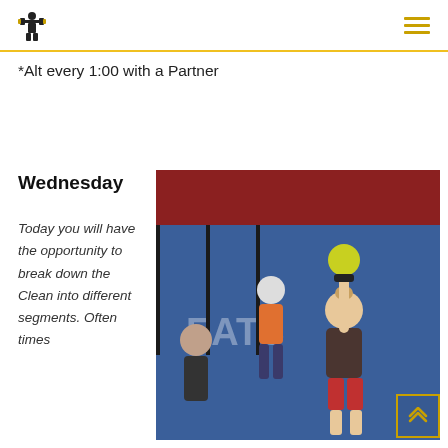[Logo] [Hamburger menu]
*Alt every 1:00 with a Partner
Wednesday
Today you will have the opportunity to break down the Clean into different segments. Often times
[Figure (photo): Woman lifting a kettlebell overhead in a gym, with another person in the background wearing an orange shirt. Blue wall with partial text visible.]